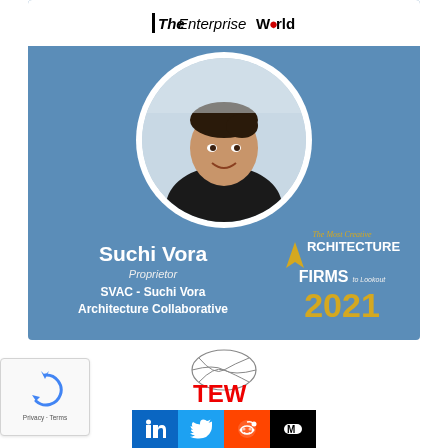[Figure (logo): The Enterprise World logo — black text with red dot on white bar]
[Figure (photo): Circular portrait photo of Suchi Vora, a woman smiling, wearing black, hair up, against light background]
Suchi Vora
Proprietor
SVAC - Suchi Vora Architecture Collaborative
The Most Creative ARCHITECTURE FIRMS to Lookout 2021
[Figure (logo): TEW (The Enterprise World) logo with globe graphic, red TEW text]
[Figure (infographic): Social media share buttons: LinkedIn (blue), Twitter (blue), Reddit (orange), Medium (black)]
[Figure (other): reCAPTCHA widget with circular arrows icon and Privacy - Terms text]